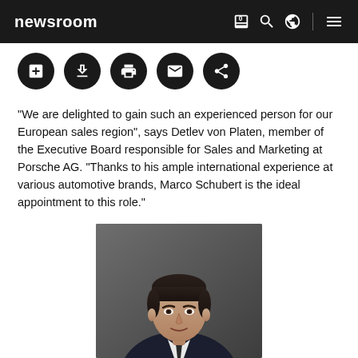newsroom
“We are delighted to gain such an experienced person for our European sales region”, says Detlev von Platen, member of the Executive Board responsible for Sales and Marketing at Porsche AG. “Thanks to his ample international experience at various automotive brands, Marco Schubert is the ideal appointment to this role.”
[Figure (photo): Portrait photograph of Marco Schubert, a man in a dark suit with white shirt, against a grey background]